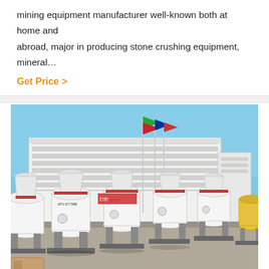mining equipment manufacturer well-known both at home and abroad, major in producing stone crushing equipment, mineral…
Get Price >
[Figure (photo): Outdoor factory yard showing a row of large white industrial grinding/milling machines on wheeled platforms, with a multi-story factory building in the background and flags on tall poles against a blue sky.]